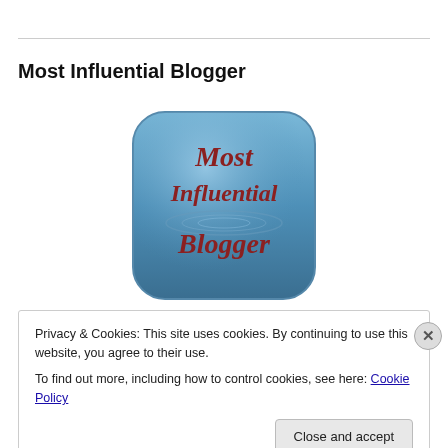Most Influential Blogger
[Figure (logo): Blue rounded-square badge with text 'Most Influential Blogger' in red decorative font on a blue gradient background with a water ripple graphic]
Privacy & Cookies: This site uses cookies. By continuing to use this website, you agree to their use.
To find out more, including how to control cookies, see here: Cookie Policy
Close and accept